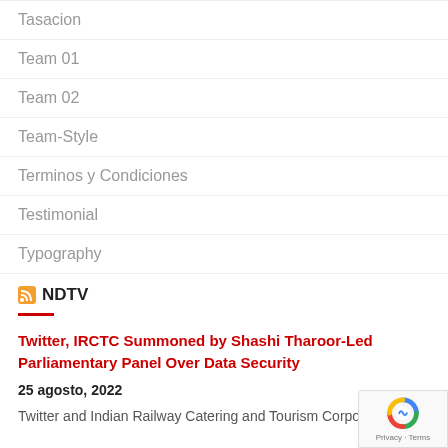Tasacion
Team 01
Team 02
Team-Style
Terminos y Condiciones
Testimonial
Typography
NDTV
Twitter, IRCTC Summoned by Shashi Tharoor-Led Parliamentary Panel Over Data Security
25 agosto, 2022
Twitter and Indian Railway Catering and Tourism Corporation